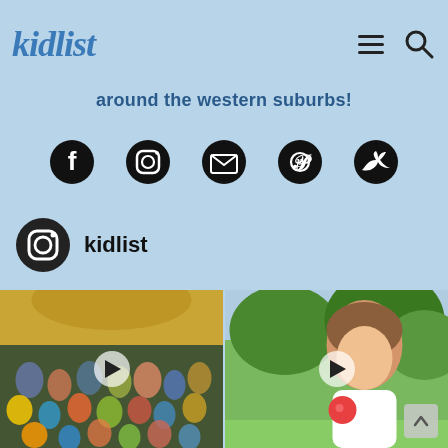kidlist
around the western suburbs!
[Figure (infographic): Social media icons row: Facebook, Instagram, Email, Pinterest, Twitter]
[Figure (logo): Instagram profile icon with username 'kidlist']
kidlist
[Figure (photo): Left: crowd of children at an outdoor pavilion event, video play button overlay]
[Figure (photo): Right: girl holding an apple in an orchard, video play button overlay, scroll-up button]